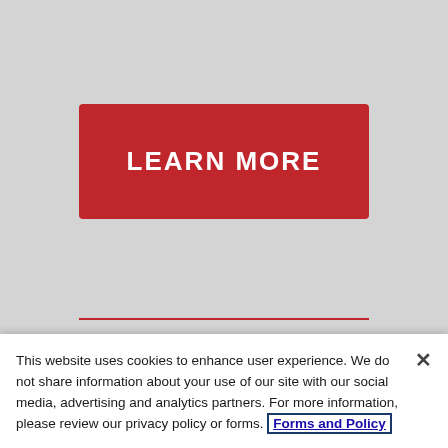[Figure (other): Red button with white text reading LEARN MORE on a light grey background]
CAREER OPPORTUNITIES
We are always interested in speaking with professionals.
This website uses cookies to enhance user experience. We do not share information about your use of our site with our social media, advertising and analytics partners. For more information, please review our privacy policy or forms. Forms and Policy